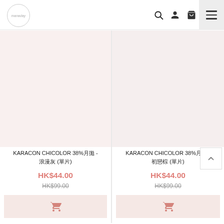manaday - navigation bar with logo, search, user, bag, menu icons
[Figure (photo): Product image placeholder - KARACON CHICOLOR 38% monthly lens Romantic Grey (single piece) - light pinkish background]
KARACON CHICOLOR 38%月拋 - 浪漫灰 (單片)
HK$44.00
HK$99.00
[Figure (photo): Product image placeholder - KARACON CHICOLOR 38% monthly lens First Love Brown (single piece) - light pinkish background]
KARACON CHICOLOR 38%月拋 - 初戀棕 (單片)
HK$44.00
HK$99.00